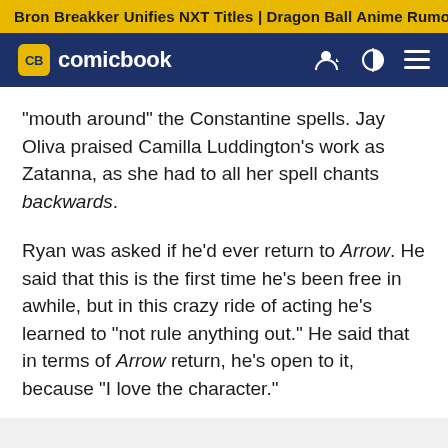Bron Breakker Unifies NXT Titles | Dragon Ball Anime Rumor
[Figure (logo): Comicbook.com logo with CB badge in yellow on dark navy navigation bar, with user icon, brightness icon, and menu icon on the right]
"mouth around" the Constantine spells. Jay Oliva praised Camilla Luddington's work as Zatanna, as she had to all her spell chants backwards.
Ryan was asked if he'd ever return to Arrow. He said that this is the first time he's been free in awhile, but in this crazy ride of acting he's learned to "not rule anything out." He said that in terms of Arrow return, he's open to it, because "I love the character."